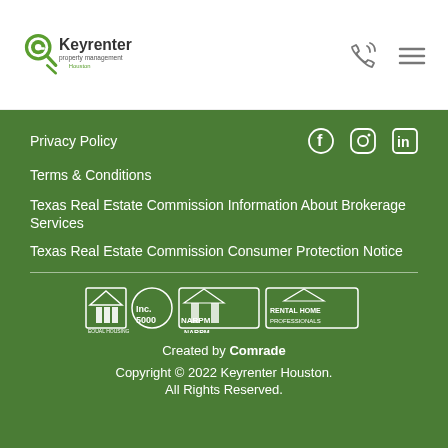Keyrenter property management Houston
Privacy Policy
Terms & Conditions
Texas Real Estate Commission Information About Brokerage Services
Texas Real Estate Commission Consumer Protection Notice
[Figure (logo): Logos: Equal Housing, Inc. 5000, NARPM, Rental Home Professionals]
Created by Comrade
Copyright © 2022 Keyrenter Houston. All Rights Reserved.